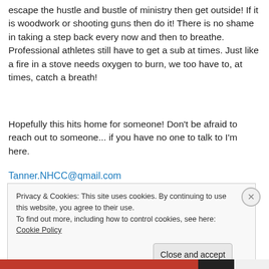escape the hustle and bustle of ministry then get outside! If it is woodwork or shooting guns then do it! There is no shame in taking a step back every now and then to breathe. Professional athletes still have to get a sub at times. Just like a fire in a stove needs oxygen to burn, we too have to, at times, catch a breath!
Hopefully this hits home for someone! Don't be afraid to reach out to someone... if you have no one to talk to I'm here.
Tanner.NHCC@qmail.com
Privacy & Cookies: This site uses cookies. By continuing to use this website, you agree to their use.
To find out more, including how to control cookies, see here: Cookie Policy
Close and accept